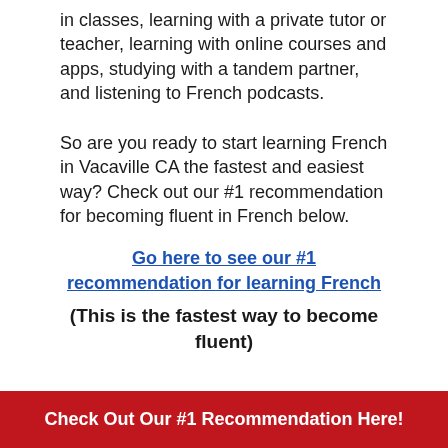in classes, learning with a private tutor or teacher, learning with online courses and apps, studying with a tandem partner, and listening to French podcasts.
So are you ready to start learning French in Vacaville CA the fastest and easiest way? Check out our #1 recommendation for becoming fluent in French below.
Go here to see our #1 recommendation for learning French
(This is the fastest way to become fluent)
Check Out Our #1 Recommendation Here!